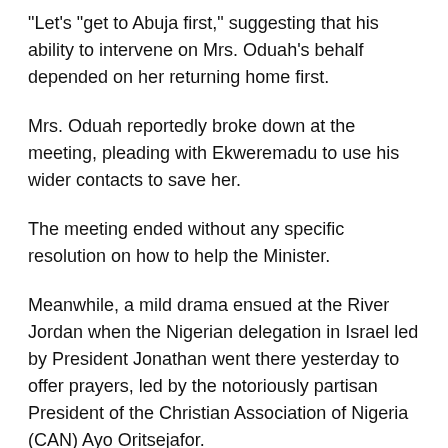“Let’s “get to Abuja first,” suggesting that his ability to intervene on Mrs. Oduah’s behalf depended on her returning home first.
Mrs. Oduah reportedly broke down at the meeting, pleading with Ekweremadu to use his wider contacts to save her.
The meeting ended without any specific resolution on how to help the Minister.
Meanwhile, a mild drama ensued at the River Jordan when the Nigerian delegation in Israel led by President Jonathan went there yesterday to offer prayers, led by the notoriously partisan President of the Christian Association of Nigeria (CAN) Ayo Oritsejafor.
After praying for President Jonathan and several dignitaries